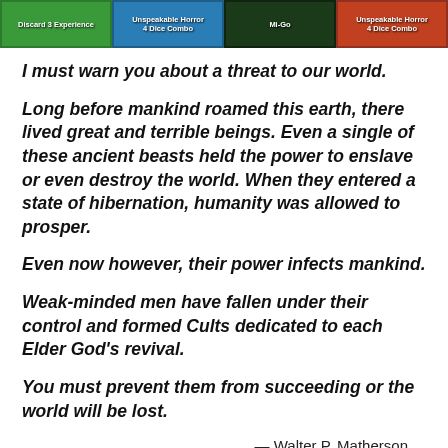[Figure (other): Four game cards shown at the top: a green card labeled 'Discard 3 Experience', a blue card labeled 'Unspeakable Horror 4 Dice Combo', a dark card labeled 'Mi-Go', and a red/orange card labeled 'Unspeakable Horror 4 Dice Combo'.]
I must warn you about a threat to our world.
Long before mankind roamed this earth, there lived great and terrible beings. Even a single of these ancient beasts held the power to enslave or even destroy the world. When they entered a state of hibernation, humanity was allowed to prosper.
Even now however, their power infects mankind.
Weak-minded men have fallen under their control and formed Cults dedicated to each Elder God's revival.
You must prevent them from succeeding or the world will be lost.
— Walter P. Matherson